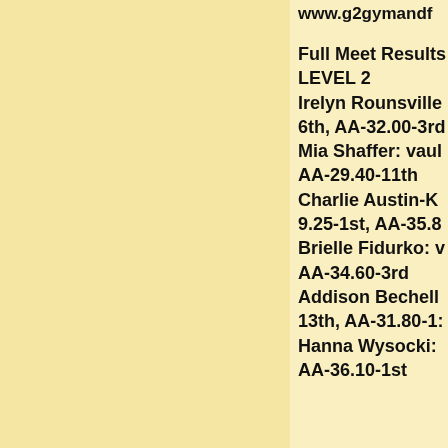www.g2gymandf...
Full Meet Results
LEVEL 2
Irelyn Rounsville
6th, AA-32.00-3rd
Mia Shaffer: vaul
AA-29.40-11th
Charlie Austin-K
9.25-1st, AA-35.8
Brielle Fidurko: v
AA-34.60-3rd
Addison Bechell
13th, AA-31.80-1:
Hanna Wysocki:
AA-36.10-1st